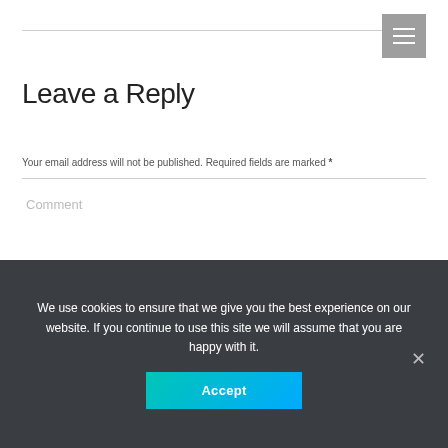Leave a Reply
Your email address will not be published. Required fields are marked *
Comment
We use cookies to ensure that we give you the best experience on our website. If you continue to use this site we will assume that you are happy with it.
Accept